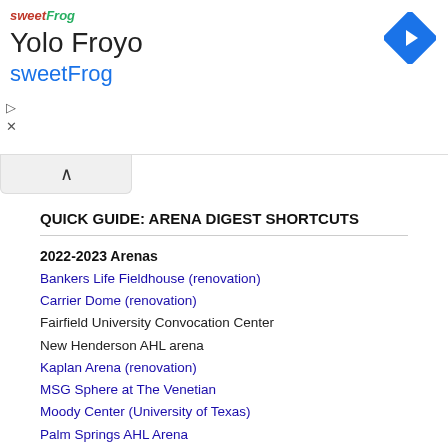[Figure (screenshot): sweetFrog advertisement banner with logo, 'Yolo Froyo' title, 'sweetFrog' subtitle in blue, navigation arrow icon top right, play and close buttons on left]
QUICK GUIDE: ARENA DIGEST SHORTCUTS
2022-2023 Arenas
Bankers Life Fieldhouse (renovation)
Carrier Dome (renovation)
Fairfield University Convocation Center
New Henderson AHL arena
Kaplan Arena (renovation)
MSG Sphere at The Venetian
Moody Center (University of Texas)
Palm Springs AHL Arena
Sacred Heart University
Savannah Arena
Solar4America Ice at San Jose expansion
2023-2024 Arenas
New Los Angeles Clippers Arena